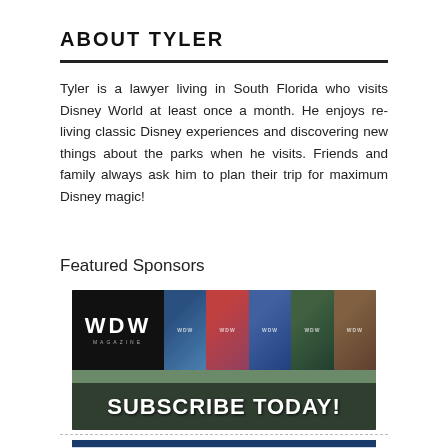ABOUT TYLER
Tyler is a lawyer living in South Florida who visits Disney World at least once a month. He enjoys re-living classic Disney experiences and discovering new things about the parks when he visits. Friends and family always ask him to plan their trip for maximum Disney magic!
Featured Sponsors
[Figure (illustration): WDW Magazine banner advertisement with black logo box showing 'WDW MAGAZINE', five magazine cover thumbnails in a strip, and a 'SUBSCRIBE TODAY!' call to action bar at the bottom]
[Figure (illustration): David's Vacation Club Villa advertisement banner with dark blue top bar, light blue body, script 'David's' logo on left, and text 'Deluxe DISNEY Vacation Club Villa' on right]